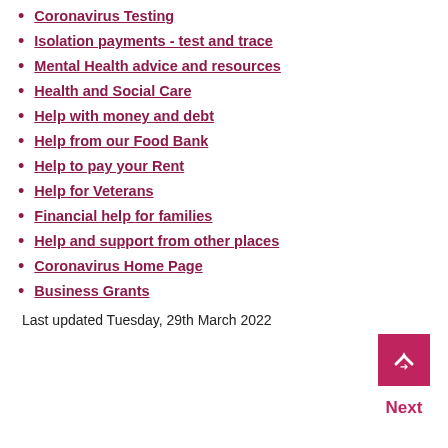Coronavirus Testing
Isolation payments - test and trace
Mental Health advice and resources
Health and Social Care
Help with money and debt
Help from our Food Bank
Help to pay your Rent
Help for Veterans
Financial help for families
Help and support from other places
Coronavirus Home Page
Business Grants
Last updated Tuesday, 29th March 2022